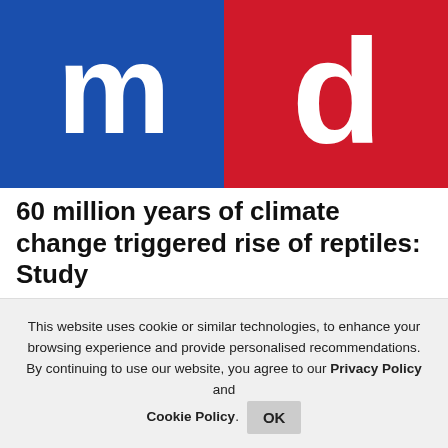[Figure (logo): Mid-day (m·d) logo — blue left panel with white 'm', red right panel with white 'd', with a dot separator]
60 million years of climate change triggered rise of reptiles: Study
21 August,2022 12:12 PM IST | Mumbai | IANS
[Figure (other): Partial blue and red horizontal color bar, bottom section of page]
This website uses cookie or similar technologies, to enhance your browsing experience and provide personalised recommendations. By continuing to use our website, you agree to our Privacy Policy and Cookie Policy.